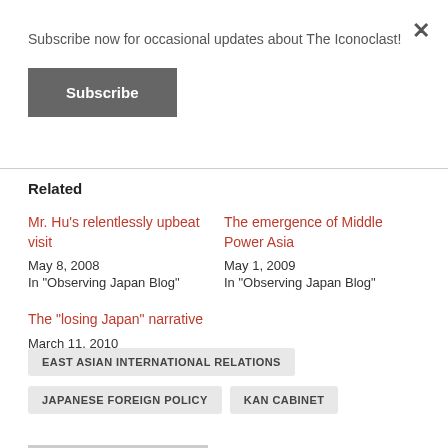Subscribe now for occasional updates about The Iconoclast!
Subscribe
Related
Mr. Hu’s relentlessly upbeat visit
May 8, 2008
In "Observing Japan Blog"
The emergence of Middle Power Asia
May 1, 2009
In "Observing Japan Blog"
The "losing Japan" narrative
March 11, 2010
In "Observing Japan Blog"
EAST ASIAN INTERNATIONAL RELATIONS
JAPANESE FOREIGN POLICY
KAN CABINET